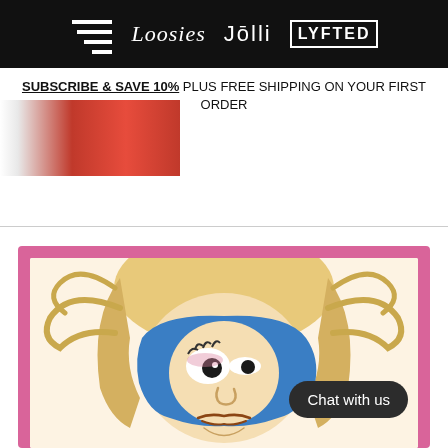Loosies · Jolli · LyftED — brand logos
SUBSCRIBE & SAVE 10% PLUS FREE SHIPPING ON YOUR FIRST ORDER
[Figure (photo): Partial product image showing red and white packaging, cropped]
[Figure (illustration): Cartoon character illustration of a blonde woman with a blue mask/face, wide-eyed, on a pink-bordered white card. A dark rounded chat button overlay reads 'Chat with us'.]